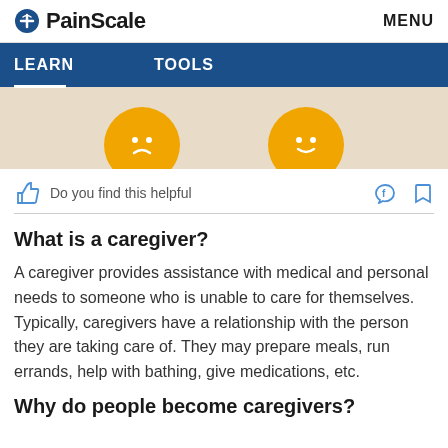PainScale   MENU
[Figure (screenshot): Blue navigation bar with LEARN (active, underlined) and TOOLS tabs]
[Figure (illustration): Beige background with two orange emoji circles partially visible, one showing a sad face and one showing a happy face]
Do you find this helpful
What is a caregiver?
A caregiver provides assistance with medical and personal needs to someone who is unable to care for themselves. Typically, caregivers have a relationship with the person they are taking care of. They may prepare meals, run errands, help with bathing, give medications, etc.
Why do people become caregivers?